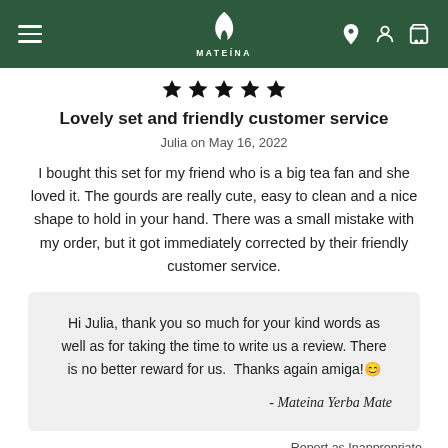MATEÍNA
[Figure (other): Five black star icons indicating a 5-star rating]
Lovely set and friendly customer service
Julia on May 16, 2022
I bought this set for my friend who is a big tea fan and she loved it. The gourds are really cute, easy to clean and a nice shape to hold in your hand. There was a small mistake with my order, but it got immediately corrected by their friendly customer service.
Hi Julia, thank you so much for your kind words as well as for taking the time to write us a review. There is no better reward for us. Thanks again amiga!😊
- Mateina Yerba Mate
Report as Inappropriate